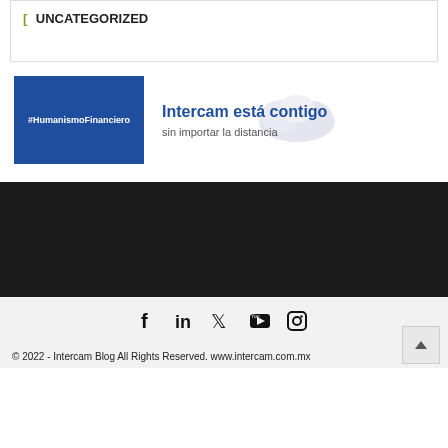[ UNCATEGORIZED
[Figure (logo): Intercam brand banner: blue box with #HumanismoFinanciero text, and 'Intercam está contigo sin importar la distancia' tagline with cloud graphic]
[Figure (illustration): Dark/black banner section]
[Figure (infographic): Social media icons: Facebook, LinkedIn, Twitter, YouTube, Instagram]
© 2022 - Intercam Blog All Rights Reserved. www.intercam.com.mx